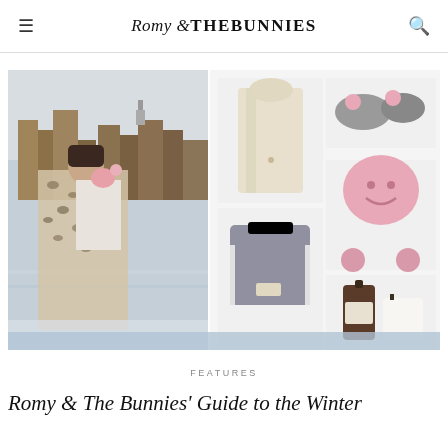Romy & THEBUNNIES
[Figure (photo): Collage image: left side shows a woman in leopard print coat holding a young child on a rooftop with NYC skyline in background; right side shows product grid with cream coat, grey slippers with pink pom, pink smiley face hat, grey children's sweater, and a candle/soap set]
FEATURES
Romy & The Bunnies' Guide to the Winter